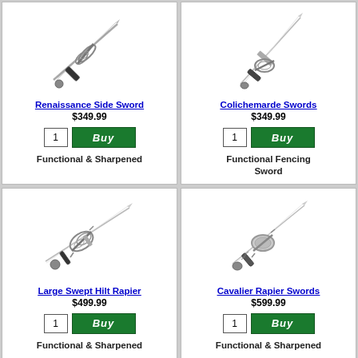[Figure (illustration): Renaissance Side Sword product image - a sword with a swept hilt guard]
Renaissance Side Sword
$349.99
Functional & Sharpened
[Figure (illustration): Colichemarde Swords product image - a slender fencing sword with a basket hilt]
Colichemarde Swords
$349.99
Functional Fencing Sword
[Figure (illustration): Large Swept Hilt Rapier product image - a rapier with elaborate swept hilt guard]
Large Swept Hilt Rapier
$499.99
Functional & Sharpened
[Figure (illustration): Cavalier Rapier Swords product image - a rapier with cup hilt guard]
Cavalier Rapier Swords
$599.99
Functional & Sharpened